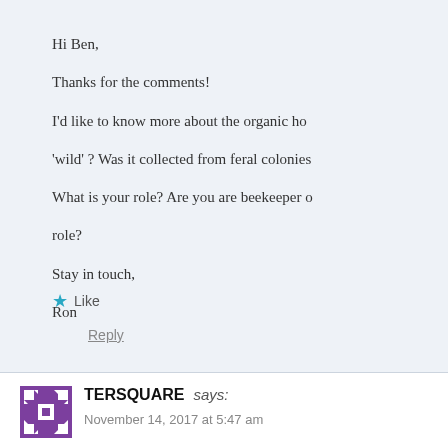Hi Ben,
Thanks for the comments!
I'd like to know more about the organic ho... 'wild' ? Was it collected from feral colonies... What is your role? Are you are beekeeper o... role?
Stay in touch,
Ron
Like
Reply
TERSQUARE says:
November 14, 2017 at 5:47 am
Hi Ron, thank you for your reply here... What i am calling wild honey is a raw... protected forest (National Park) in Su...